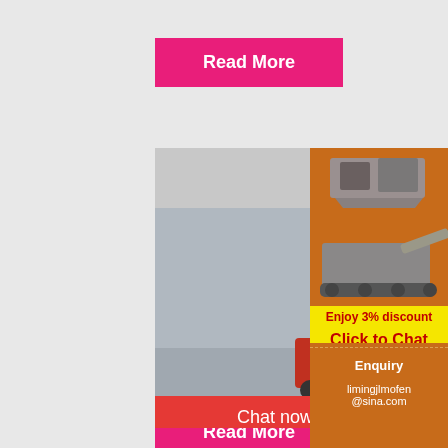Read More
[Figure (photo): Construction workers in yellow hard hats at industrial site, with LIVE CHAT overlay and Chat now / Chat later buttons]
[Figure (photo): Orange sidebar panel showing mining/quarry machines with Enjoy 3% discount and Click to Chat buttons, Enquiry section, and limingjlmofen@sina.com email]
Washing Machine | Mine & Quarry JXSC Machine
2021-11-2 · Sand Washing Machine JX...
Read More